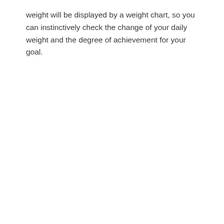weight will be displayed by a weight chart, so you can instinctively check the change of your daily weight and the degree of achievement for your goal.